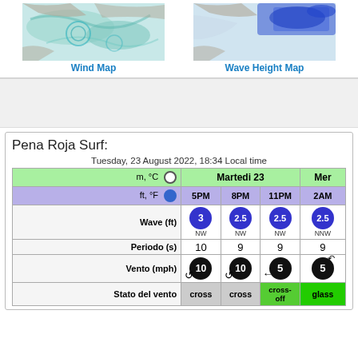[Figure (map): Wind Map - colored ocean/land map showing wind patterns in blue-green tones]
Wind Map
[Figure (map): Wave Height Map - colored ocean/land map showing wave heights in blue tones]
Wave Height Map
Pena Roja Surf:
Tuesday, 23 August 2022, 18:34 Local time
|  | Martedi 23 |  |  | Mer |
| --- | --- | --- | --- | --- |
| m, °C ○ | 5PM | 8PM | 11PM | 2AM |
| ft, °F ● | 5PM | 8PM | 11PM | 2AM |
| Wave (ft) | 3 NW | 2.5 NW | 2.5 NW | 2.5 NNW |
| Periodo (s) | 10 | 9 | 9 | 9 |
| Vento (mph) | 10 | 10 | 5 | 5 |
| Stato del vento | cross | cross | cross-off | glass |